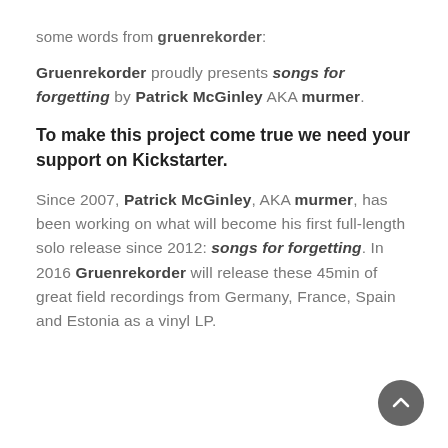some words from gruenrekorder:
Gruenrekorder proudly presents songs for forgetting by Patrick McGinley AKA murmer.
To make this project come true we need your support on Kickstarter.
Since 2007, Patrick McGinley, AKA murmer, has been working on what will become his first full-length solo release since 2012: songs for forgetting. In 2016 Gruenrekorder will release these 45min of great field recordings from Germany, France, Spain and Estonia as a vinyl LP.